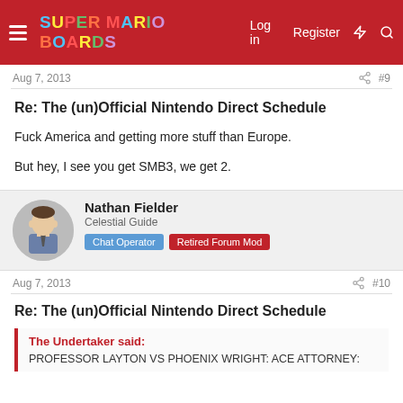Super Mario Boards — Log in  Register
Aug 7, 2013  #9
Re: The (un)Official Nintendo Direct Schedule
Fuck America and getting more stuff than Europe.

But hey, I see you get SMB3, we get 2.
Nathan Fielder
Celestial Guide
Chat Operator  Retired Forum Mod
Aug 7, 2013  #10
Re: The (un)Official Nintendo Direct Schedule
The Undertaker said:
PROFESSOR LAYTON VS PHOENIX WRIGHT: ACE ATTORNEY: